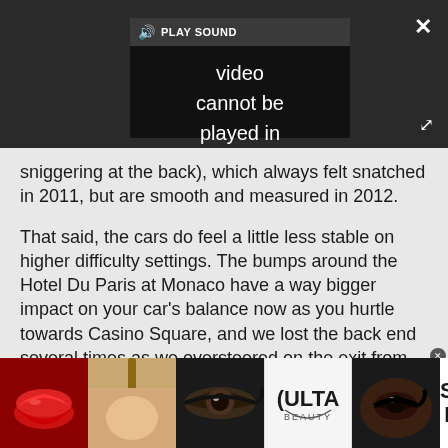[Figure (screenshot): Video player embedded in webpage showing error message 'Video cannot be played in this browser. (Error Cod' with PLAY SOUND bar at top, close X button top right, and expand arrows bottom right. Dark background.]
sniggering at the back), which always felt snatched in 2011, but are smooth and measured in 2012.
That said, the cars do feel a little less stable on higher difficulty settings. The bumps around the Hotel Du Paris at Monaco have a way bigger impact on your car's balance now as you hurtle towards Casino Square, and we lost the back end several times as we oversteered on the exit from the tunnel, way before we even touched the brakes. There's much more
[Figure (infographic): Advertisement banner for ULTA beauty showing four close-up beauty images (lips with red lipstick, makeup brush, eye with eyeliner, woman's eye with dramatic makeup), ULTA logo, and SHOP NOW call to action.]